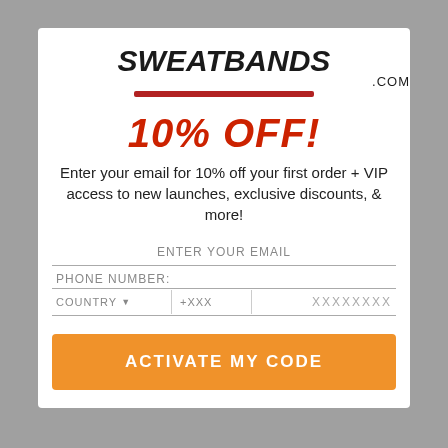[Figure (logo): SWEATBANDS.COM logo in bold italic black text with a red underline bar and '.com' suffix]
10% OFF!
Enter your email for 10% off your first order + VIP access to new launches, exclusive discounts, & more!
ENTER YOUR EMAIL
PHONE NUMBER:
XXXXXXXX
COUNTRY ▼   +XXX
ACTIVATE MY CODE